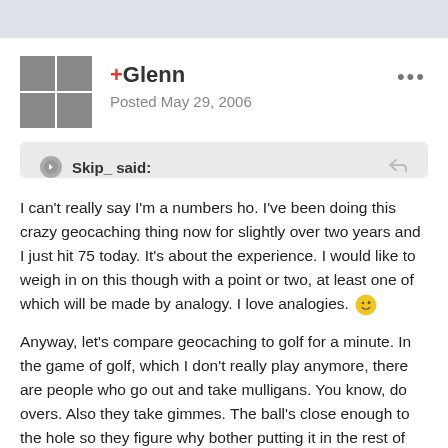[Figure (other): Top navigation/header bar in gray]
[Figure (other): User avatar grid of 4 thumbnail photos]
+Glenn
Posted May 29, 2006
Skip_ said:
I can't really say I'm a numbers ho. I've been doing this crazy geocaching thing now for slightly over two years and I just hit 75 today. It's about the experience. I would like to weigh in on this though with a point or two, at least one of which will be made by analogy. I love analogies. 😉
Anyway, let's compare geocaching to golf for a minute. In the game of golf, which I don't really play anymore, there are people who go out and take mulligans. You know, do overs. Also they take gimmes. The ball's close enough to the hole so they figure why bother putting it in the rest of the way and giving themselves a chance to screw it up. After taking a mulligan and a gimme on a par 4 hole, these people will happily mark down their score without